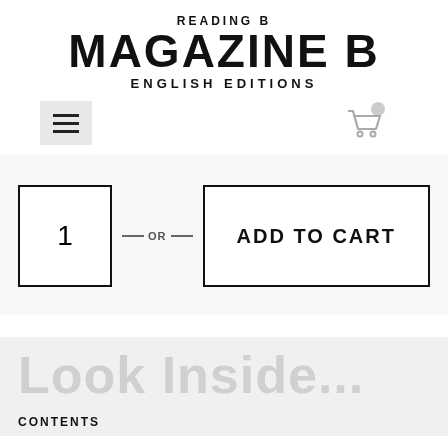READING B
MAGAZINE B
ENGLISH EDITIONS
[Figure (screenshot): Hamburger menu button (three horizontal lines) on light grey background, and a shopping cart icon with a notification badge on the right]
[Figure (screenshot): Product quantity box showing '1' with an OR label and an ADD TO CART button]
Look Inside...
CONTENTS